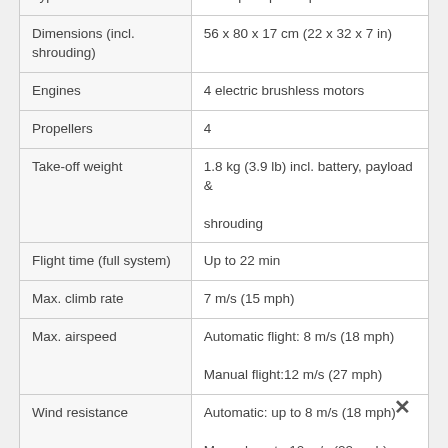|  |  |
| --- | --- |
| Type | V-shaped quadcopter |
| Dimensions (incl. shrouding) | 56 x 80 x 17 cm (22 x 32 x 7 in) |
| Engines | 4 electric brushless motors |
| Propellers | 4 |
| Take-off weight | 1.8 kg (3.9 lb) incl. battery, payload & shrouding |
| Flight time (full system) | Up to 22 min |
| Max. climb rate | 7 m/s (15 mph) |
| Max. airspeed | Automatic flight: 8 m/s (18 mph)
Manual flight:12 m/s (27 mph) |
| Wind resistance | Automatic: up to 8 m/s (18 mph)
Manual: up to 10 m/s (22 mph) |